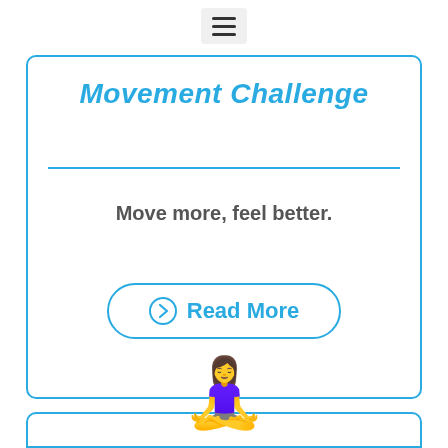[Figure (other): Hamburger menu icon (three horizontal lines) in a light gray rounded rectangle at the top center of the page]
Movement Challenge
Move more, feel better.
Read More
[Figure (illustration): Woman in lotus yoga meditation pose emoji, wearing purple top and dark pants, with brown hair, sitting cross-legged with hands on knees]